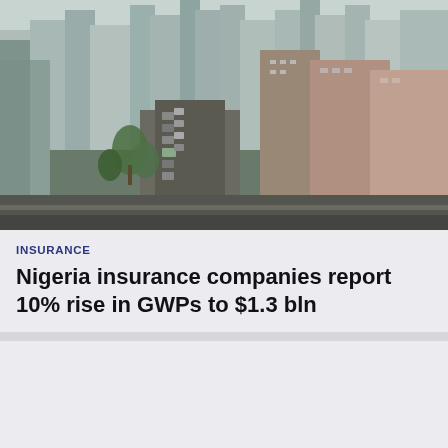[Figure (photo): Aerial view of a Nigerian city showing buildings, a busy street with vehicles, palm trees, and urban infrastructure.]
INSURANCE
Nigeria insurance companies report 10% rise in GWPs to $1.3 bln
LEGAL